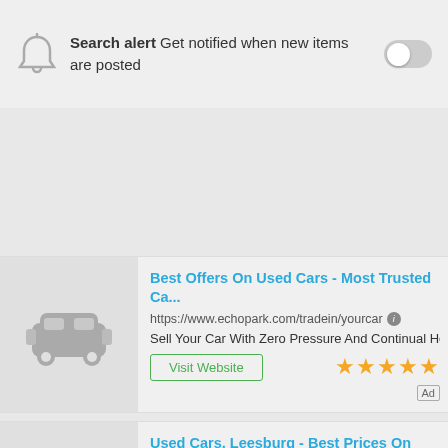Search alert  Get notified when new items are posted
[Figure (screenshot): Ad card 1: Best Offers On Used Cars - Most Trusted Ca... https://www.echopark.com/tradein/yourcar. Sell Your Car With Zero Pressure And Continual Help. Visit Website button, 5 stars, Ad label.]
[Figure (screenshot): Ad card 2: Used Cars, Leesburg - Best Prices On Used ... https://www.dullesautooutlet.com/quality/pre.... A vast selection of used vehicles, exceptional car ca... Visit Website button, Ad label.]